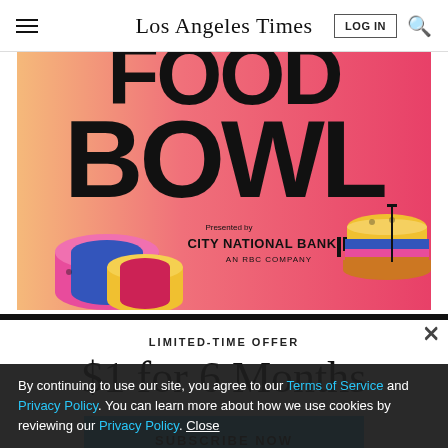Los Angeles Times
[Figure (illustration): Advertisement banner for Food Bowl event presented by City National Bank, an RBC company. Bold text reads 'BOWL' on a pink/orange gradient background with illustrated food items including sushi and a burger.]
LIMITED-TIME OFFER
$1 for 6 Months
SUBSCRIBE NOW
By continuing to use our site, you agree to our Terms of Service and Privacy Policy. You can learn more about how we use cookies by reviewing our Privacy Policy. Close